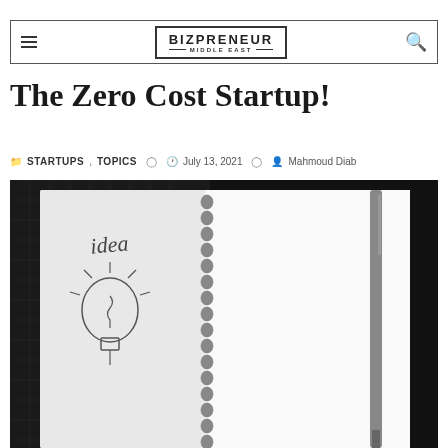BIZPRENEUR MIDDLE EAST
The Zero Cost Startup!
STARTUPS, TOPICS  July 13, 2021  Mahmoud Diab
[Figure (photo): Black and white photograph of a spiral notebook open to a page with a hand-drawn light bulb and the word 'idea' written above it, with a pen resting beside the notebook on a dark background.]